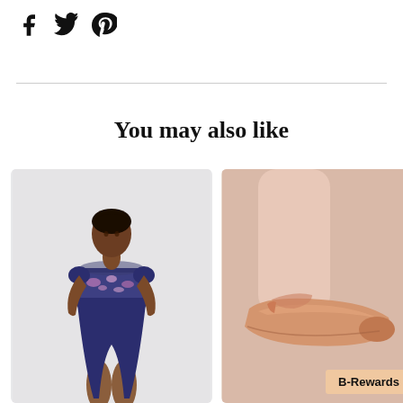[Figure (logo): Social media share icons: Facebook, Twitter, Pinterest]
You may also like
[Figure (photo): A model wearing a navy blue floral cap-sleeve leotard against a light gray background]
[Figure (photo): Partial view of ballet pointe shoes in satin pink/peach, with a B-Rewards badge overlay]
B-Rewards